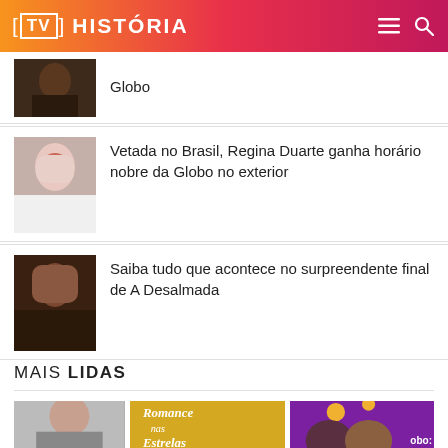[TV] HISTÓRIA
Globo
Vetada no Brasil, Regina Duarte ganha horário nobre da Globo no exterior
Saiba tudo que acontece no surpreendente final de A Desalmada
MAIS LIDAS
[Figure (screenshot): Bottom row of article thumbnails including a person photo, Romance nas Estrelas yellow card, and a purple/pink card with women, partially showing text 'obo:']